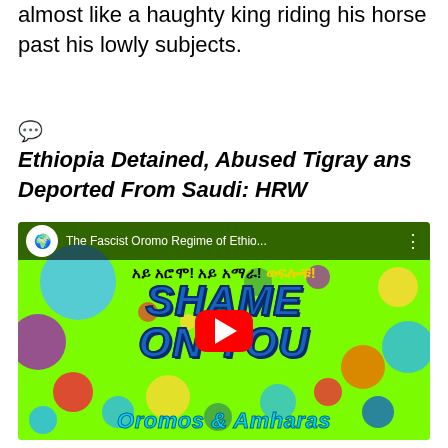almost like a haughty king riding his horse past his lowly subjects.
💬 Ethiopia Detained, Abused Tigrayans Deported From Saudi: HRW
[Figure (screenshot): YouTube video thumbnail showing colorful circles on green background with bold blue text reading 'SHAME ON YOU' and bottom text 'Oromos & Amharas'. Video title bar shows 'The Fascist Oromo Regime of Ethio...' with a red YouTube play button in the center. Amharic text appears at the top.]